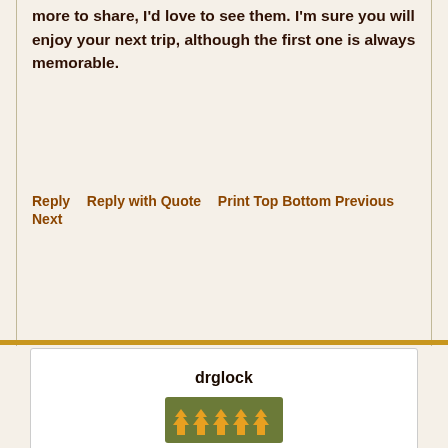more to share, I'd love to see them. I'm sure you will enjoy your next trip, although the first one is always memorable.
Reply   Reply with Quote   Print Top Bottom Previous Next
drglock
[Figure (illustration): Five orange tree/flame rank icons on a dark olive-green background]
We use cookies to enhance your experience, for analytics, and to support 3rd party content and advertising providers. If you continue using this website, you agree to our privacy and legal agreement.
Ok